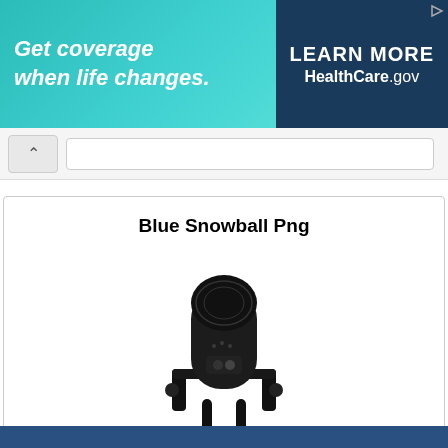[Figure (infographic): HealthCare.gov advertisement banner with teal gradient background on left showing text 'Get coverage when life changes.' and dark navy right panel with 'LEARN MORE' and 'HealthCare.gov']
Blue Snowball Png
[Figure (photo): Black Blue Snowball USB microphone on a desktop stand, viewed from front, on white background]